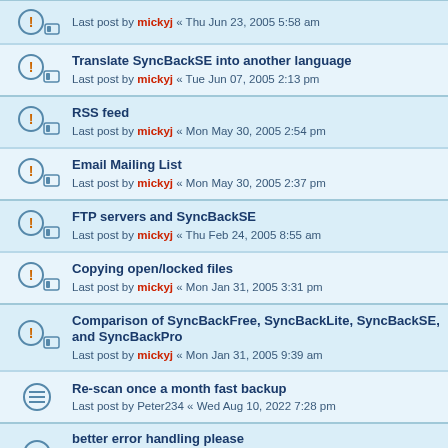Last post by mickyj « Thu Jun 23, 2005 5:58 am
Translate SyncBackSE into another language
Last post by mickyj « Tue Jun 07, 2005 2:13 pm
RSS feed
Last post by mickyj « Mon May 30, 2005 2:54 pm
Email Mailing List
Last post by mickyj « Mon May 30, 2005 2:37 pm
FTP servers and SyncBackSE
Last post by mickyj « Thu Feb 24, 2005 8:55 am
Copying open/locked files
Last post by mickyj « Mon Jan 31, 2005 3:31 pm
Comparison of SyncBackFree, SyncBackLite, SyncBackSE, and SyncBackPro
Last post by mickyj « Mon Jan 31, 2005 9:39 am
Re-scan once a month fast backup
Last post by Peter234 « Wed Aug 10, 2022 7:28 pm
better error handling please
Last post by rustleg « Sun Apr 24, 2022 4:45 pm
Replies: 3
is there a new taskbasr icon in 10.2.14.0?
Last post by bhenshaw « Tue Mar 29, 2022 3:47 am
Replies: 10
SyncBack SE v7.12 stopped working